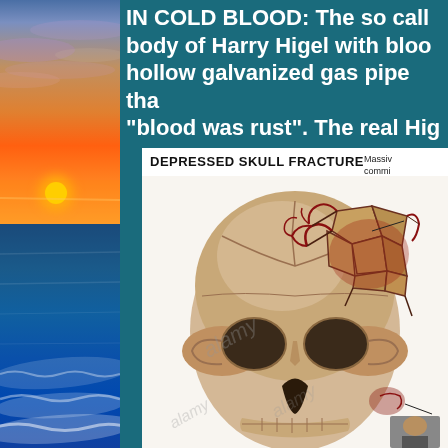[Figure (photo): Sunset over ocean photograph on the left side. Top half shows colorful sunset sky with orange and blue tones. Bottom half shows blue ocean waves.]
IN COLD BLOOD: The so called body of Harry Higel with blood hollow galvanized gas pipe that "blood was rust". The real Hig
[Figure (medical-illustration): Medical illustration of a depressed skull fracture. Shows a human skull with a comminuted depressed fracture on the top/right of the skull with fragmented bone pieces and exposed blood vessels. Watermarked with 'alamy'. Text label reads 'DEPRESSED SKULL FRACTURE' with annotation 'Massive comminuted fracture of the [skull]'.]